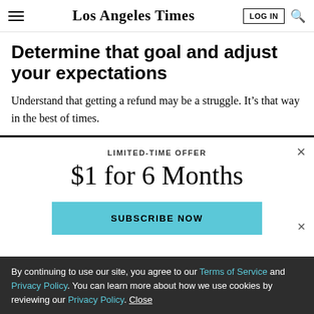Los Angeles Times — LOG IN [search]
Determine that goal and adjust your expectations
Understand that getting a refund may be a struggle. It’s that way in the best of times.
LIMITED-TIME OFFER
$1 for 6 Months
SUBSCRIBE NOW
By continuing to use our site, you agree to our Terms of Service and Privacy Policy. You can learn more about how we use cookies by reviewing our Privacy Policy. Close